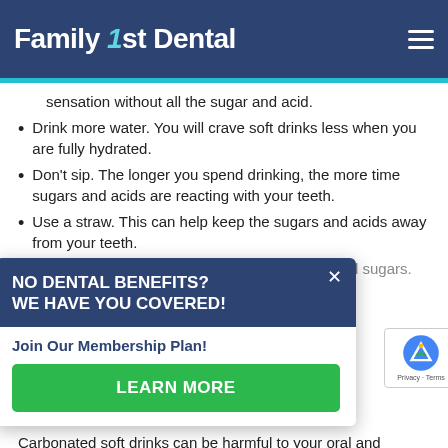Family 1st Dental
sensation without all the sugar and acid.
Drink more water. You will crave soft drinks less when you are fully hydrated.
Don’t sip. The longer you spend drinking, the more time sugars and acids are reacting with your teeth.
Use a straw. This can help keep the sugars and acids away from your teeth.
Rinse with water after drinking to dilute acids and sugars.
...iately. Wait at least 30 ...be neutralized by saliva before brushing.
...al hygiene, including ...and regular professional ...d exams.
Carbonated soft drinks can be harmful to your oral and
[Figure (infographic): Popup overlay: NO DENTAL BENEFITS? WE HAVE YOU COVERED! Join Our Membership Plan! LEARN MORE button. Close (x) button in top right corner.]